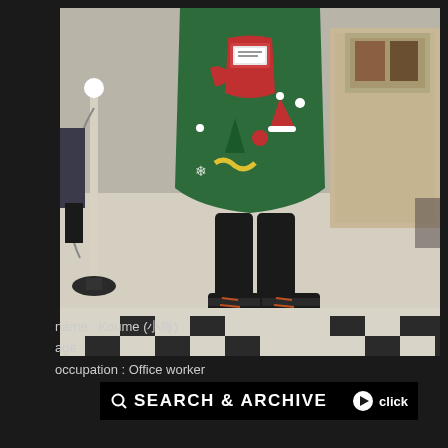[Figure (photo): A person wearing a colorful Christmas-themed dress with patterns of trees, candy canes, Santa hats and stockings, with black tights and black lace-up boots with red accents, standing on a checkered tile floor inside what appears to be a shopping mall or public building. Only the lower body is visible. A white rope barrier stand is visible on the left side.]
name : Koume (小梅)
age :
occupation : Office worker
SEARCH & ARCHIVE
click